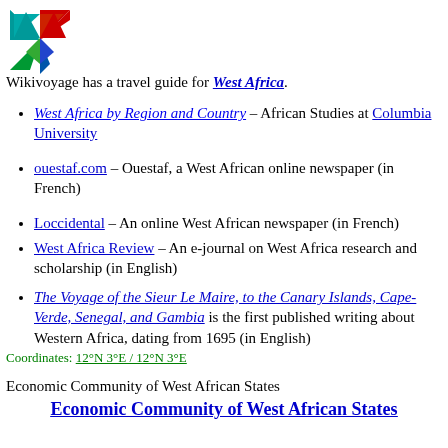[Figure (logo): Wikivoyage logo - a compass star with red, green, blue and teal triangular points]
Wikivoyage has a travel guide for West Africa.
West Africa by Region and Country – African Studies at Columbia University
ouestaf.com – Ouestaf, a West African online newspaper (in French)
Loccidental – An online West African newspaper (in French)
West Africa Review – An e-journal on West Africa research and scholarship (in English)
The Voyage of the Sieur Le Maire, to the Canary Islands, Cape-Verde, Senegal, and Gambia is the first published writing about Western Africa, dating from 1695 (in English)
Coordinates: 12°N 3°E / 12°N 3°E
Economic Community of West African States
Economic Community of West African States
Eyadéma
Obasanjo
Senghor
Eyadéma
Stevens